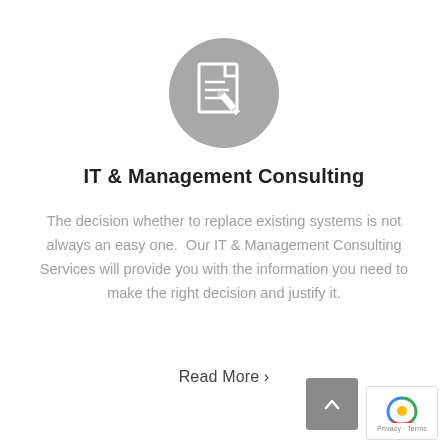[Figure (illustration): Gray circular icon with a document and pencil/edit symbol in white]
IT & Management Consulting
The decision whether to replace existing systems is not always an easy one.  Our IT & Management Consulting Services will provide you with the information you need to make the right decision and justify it.
Read More ›